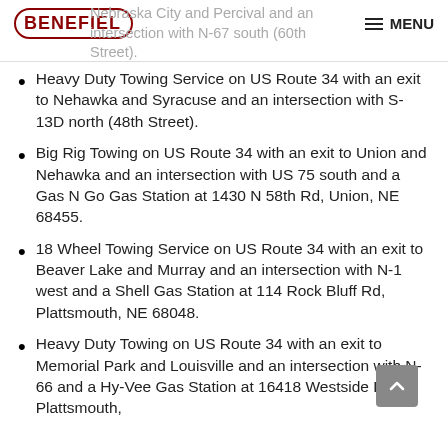Nebraska City and Percival and an intersection with N-67 south (60th Street). BENEFIEL MENU
Heavy Duty Towing Service on US Route 34 with an exit to Nehawka and Syracuse and an intersection with S-13D north (48th Street).
Big Rig Towing on US Route 34 with an exit to Union and Nehawka and an intersection with US 75 south and a Gas N Go Gas Station at 1430 N 58th Rd, Union, NE 68455.
18 Wheel Towing Service on US Route 34 with an exit to Beaver Lake and Murray and an intersection with N-1 west and a Shell Gas Station at 114 Rock Bluff Rd, Plattsmouth, NE 68048.
Heavy Duty Towing on US Route 34 with an exit to Memorial Park and Louisville and an intersection with N-66 and a Hy-Vee Gas Station at 16418 Westside Dr, Plattsmouth,